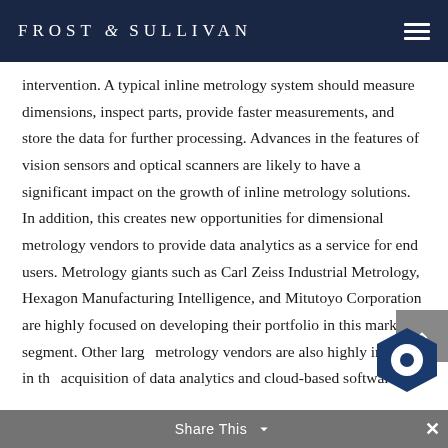FROST & SULLIVAN
intervention. A typical inline metrology system should measure dimensions, inspect parts, provide faster measurements, and store the data for further processing. Advances in the features of vision sensors and optical scanners are likely to have a significant impact on the growth of inline metrology solutions. In addition, this creates new opportunities for dimensional metrology vendors to provide data analytics as a service for end users. Metrology giants such as Carl Zeiss Industrial Metrology, Hexagon Manufacturing Intelligence, and Mitutoyo Corporation are highly focused on developing their portfolio in this market segment. Other large metrology vendors are also highly involved in the acquisition of data analytics and cloud-based software